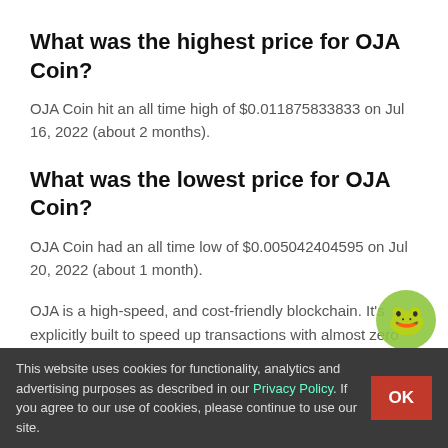What was the highest price for OJA Coin?
OJA Coin hit an all time high of $0.011875833833 on Jul 16, 2022 (about 2 months).
What was the lowest price for OJA Coin?
OJA Coin had an all time low of $0.005042404595 on Jul 20, 2022 (about 1 month).
OJA is a high-speed, and cost-friendly blockchain. It’s explicitly built to speed up transactions with almost zero transaction fees. The main chain of OJA Coin is based on a hybrid consensus, merging Proof of Work (PoW) and Proof of Stake (PoS).
In addition, OJA Coin blockchain offers 17x security protections w… also being power-efficient and environmentally friendly owing to the A…
This website uses cookies for functionality, analytics and advertising purposes as described in our Privacy Policy. If you agree to our use of cookies, please continue to use our site.